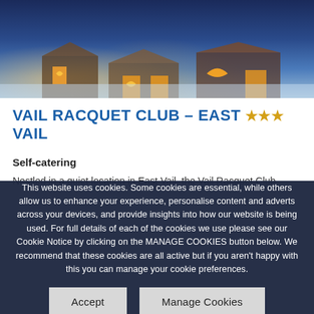[Figure (photo): A snowy alpine building/chalet at night with warm glowing lights, snow-covered rooftop and surroundings, blue-toned winter scene]
VAIL RACQUET CLUB – EAST VAIL ★★★
Self-catering
Nestled in a quiet location in East Vail, the Vail Racquet Club
This website uses cookies. Some cookies are essential, while others allow us to enhance your experience, personalise content and adverts across your devices, and provide insights into how our website is being used. For full details of each of the cookies we use please see our Cookie Notice by clicking on the MANAGE COOKIES button below. We recommend that these cookies are all active but if you aren't happy with this you can manage your cookie preferences.